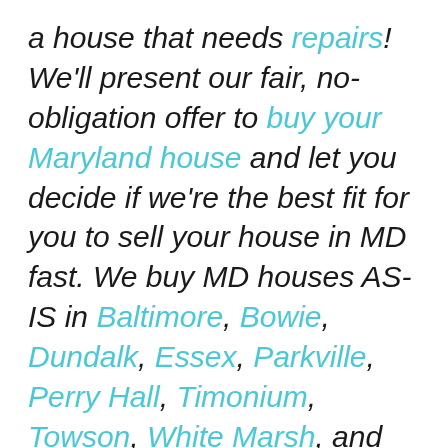a house that needs repairs! We'll present our fair, no-obligation offer to buy your Maryland house and let you decide if we're the best fit for you to sell your house in MD fast. We buy MD houses AS-IS in Baltimore, Bowie, Dundalk, Essex, Parkville, Perry Hall, Timonium, Towson, White Marsh, and more! If you still questions about selling your home, give us a call or text at (410) 870-9228! Or send us a message. We look